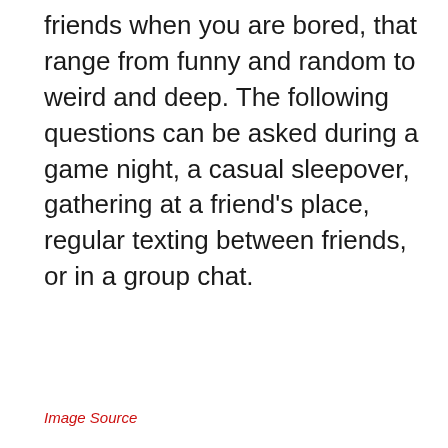friends when you are bored, that range from funny and random to weird and deep. The following questions can be asked during a game night, a casual sleepover, gathering at a friend's place, regular texting between friends, or in a group chat.
Image Source